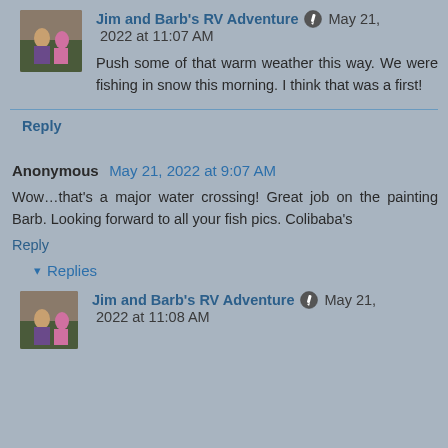Jim and Barb's RV Adventure 🖊 May 21, 2022 at 11:07 AM
Push some of that warm weather this way. We were fishing in snow this morning. I think that was a first!
Reply
Anonymous May 21, 2022 at 9:07 AM
Wow…that's a major water crossing! Great job on the painting Barb. Looking forward to all your fish pics. Colibaba's
Reply
▾ Replies
Jim and Barb's RV Adventure 🖊 May 21, 2022 at 11:08 AM